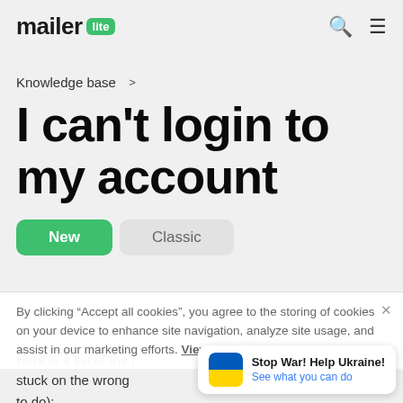mailer lite — Knowledge base app header with search and menu icons
Knowledge base >
I can't login to my account
New | Classic (tabs)
By clicking "Accept all cookies", you agree to the storing of cookies on your device to enhance site navigation, analyze site usage, and assist in our marketing efforts. View our Cookie Policy
Here is a list of the most common reasons why people get stuck on the wrong (what to do):
[Figure (other): Ukraine flag icon — blue top half, yellow bottom half, rounded square]
Stop War! Help Ukraine! See what you can do